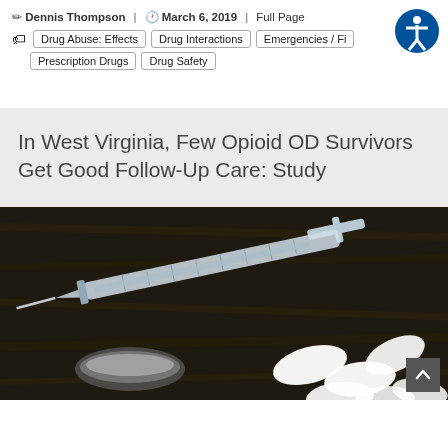Dennis Thompson | March 6, 2019 | Full Page
Drug Abuse: Effects | Drug Interactions | Emergencies / Fi...
Prescription Drugs | Drug Safety
In West Virginia, Few Opioid OD Survivors Get Good Follow-Up Care: Study
[Figure (photo): Dark background with a medical syringe lying diagonally, a small dish with white powder, and several white oval pills scattered on a dark wooden surface.]